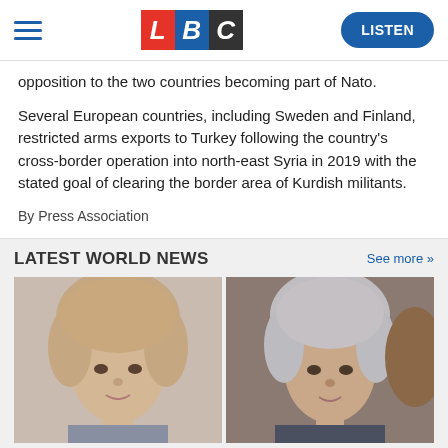LBC — LISTEN
opposition to the two countries becoming part of Nato.
Several European countries, including Sweden and Finland, restricted arms exports to Turkey following the country's cross-border operation into north-east Syria in 2019 with the stated goal of clearing the border area of Kurdish militants.
By Press Association
LATEST WORLD NEWS
[Figure (photo): Two side-by-side photos of women, partially cut off at bottom of page]